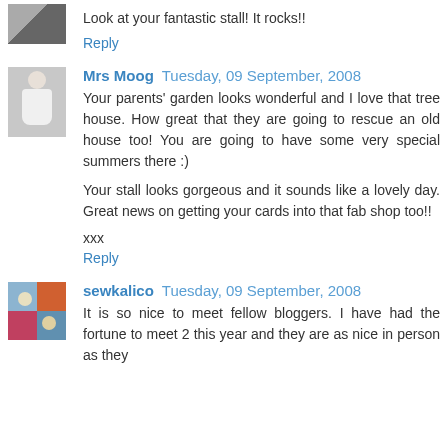Look at your fantastic stall! It rocks!!
Reply
Mrs Moog  Tuesday, 09 September, 2008
Your parents' garden looks wonderful and I love that tree house. How great that they are going to rescue an old house too! You are going to have some very special summers there :)
Your stall looks gorgeous and it sounds like a lovely day. Great news on getting your cards into that fab shop too!!
xxx
Reply
sewkalico  Tuesday, 09 September, 2008
It is so nice to meet fellow bloggers. I have had the fortune to meet 2 this year and they are as nice in person as they